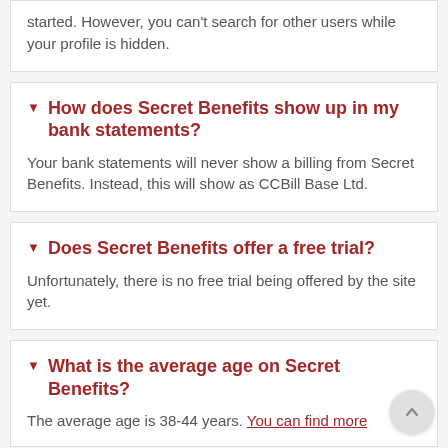started. However, you can't search for other users while your profile is hidden.
How does Secret Benefits show up in my bank statements?
Your bank statements will never show a billing from Secret Benefits. Instead, this will show as CCBill Base Ltd.
Does Secret Benefits offer a free trial?
Unfortunately, there is no free trial being offered by the site yet.
What is the average age on Secret Benefits?
The average age is 38-44 years. You can find more